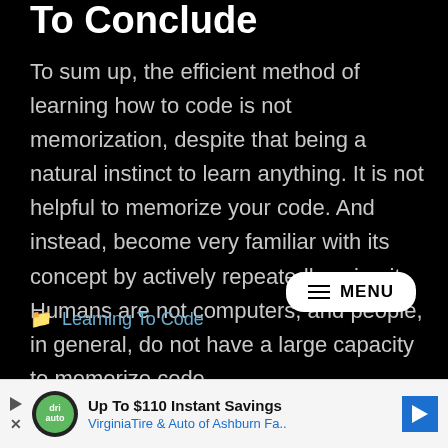To Conclude
To sum up, the efficient method of learning how to code is not memorization, despite that being a natural instinct to learn anything. It is not helpful to memorize your code. And instead, become very familiar with its concept by actively repeatedly using it. Humans are not computers, and people, in general, do not have a large capacity to memorize code.
Learning To Code
[Figure (other): MENU button (hamburger menu) in white rounded rectangle]
[Figure (other): Advertisement banner: Up To $110 Instant Savings - VirginiaTire & Auto of Ashburn Fa.]